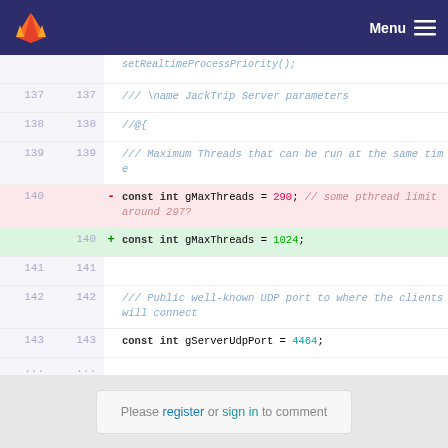GitLab — Menu
[Figure (screenshot): Code diff view showing C++ header file changes. Lines 137-143 shown. Line 140 changed: const int gMaxThreads = 290 (deleted) → const int gMaxThreads = 1024 (added). Other lines include comments about JackTrip Server parameters and gServerUdpPort = 4464.]
Please register or sign in to comment